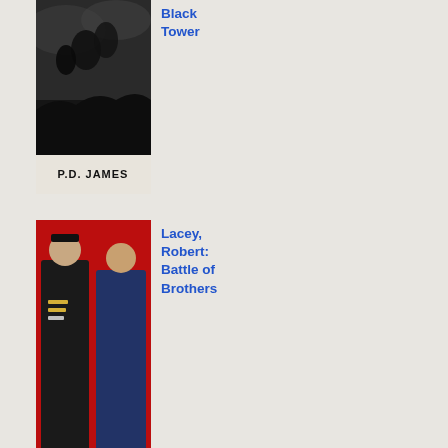[Figure (photo): Book cover of 'The Black Tower' by P.D. James — dark monochrome illustration with author name at bottom]
Black Tower
[Figure (photo): Book cover of 'Battle of Brothers' by Robert Lacey — red background with two men in military/formal attire]
Lacey, Robert: Battle of Brothers
[Figure (photo): Book cover of 'Fortune and Glory' by Janet Evanovich — dark blue background with gold key graphic and bold title text]
Evanovich, Janet: Fortune and Glory
Cla FM anc who was pre the sho at the mo but also the nar of the pie of mu bei pla the